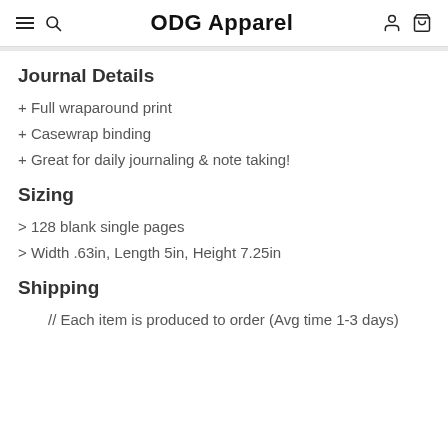ODG Apparel
Journal Details
+ Full wraparound print
+ Casewrap binding
+ Great for daily journaling & note taking!
Sizing
> 128 blank single pages
> Width .63in, Length 5in, Height 7.25in
Shipping
// Each item is produced to order (Avg time 1-3 days)